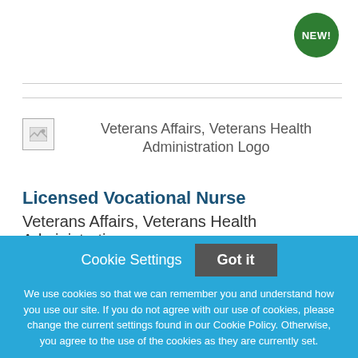[Figure (logo): NEW! badge - green circle with white bold text]
[Figure (logo): Veterans Affairs, Veterans Health Administration Logo - broken image placeholder with alt text]
Licensed Vocational Nurse
Veterans Affairs, Veterans Health Administration
Cookie Settings   Got it
We use cookies so that we can remember you and understand how you use our site. If you do not agree with our use of cookies, please change the current settings found in our Cookie Policy. Otherwise, you agree to the use of the cookies as they are currently set.